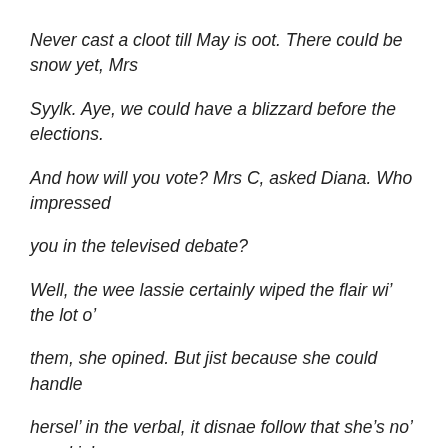Never cast a cloot till May is oot.  There could be snow yet, Mrs
Syylk.  Aye, we could have a blizzard before the elections.
And how will you vote? Mrs C, asked Diana.  Who impressed
you in the televised debate?
Well, the wee lassie certainly wiped the flair wi' the lot o'
them, she opined.  But jist because she could handle
hersel' in the verbal, it disnae follow that she's no' speakin'
a load o' sh…Sugar!
Mrs Connolly!  Please.  I get your drift and I must say that